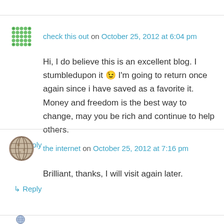check this out on October 25, 2012 at 6:04 pm
Hi, I do believe this is an excellent blog. I stumbledupon it 😉 I'm going to return once again since i have saved as a favorite it. Money and freedom is the best way to change, may you be rich and continue to help others.
↳ Reply
the internet on October 25, 2012 at 7:16 pm
Brilliant, thanks, I will visit again later.
↳ Reply